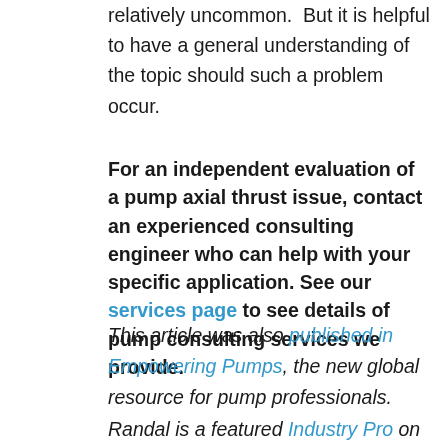relatively uncommon.  But it is helpful to have a general understanding of the topic should such a problem occur.
For an independent evaluation of a pump axial thrust issue, contact an experienced consulting engineer who can help with your specific application. See our services page to see details of pump consulting services we provide.
This article was also published in Empowering Pumps, the new global resource for pump professionals.  Randal is a featured Industry Pro on EmpoweringPumps.com.